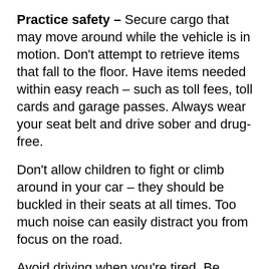Practice safety – Secure cargo that may move around while the vehicle is in motion. Don't attempt to retrieve items that fall to the floor. Have items needed within easy reach – such as toll fees, toll cards and garage passes. Always wear your seat belt and drive sober and drug-free.
Don't allow children to fight or climb around in your car – they should be buckled in their seats at all times. Too much noise can easily distract you from focus on the road.
Avoid driving when you're tired. Be aware that some medications cause drowsiness and make operating a vehicle very dangerous.